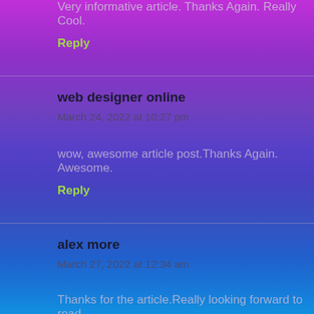Very informative article. Thanks Again. Really Cool.
Reply
web designer online
March 24, 2022 at 10:27 pm
wow, awesome article post.Thanks Again. Awesome.
Reply
alex more
March 27, 2022 at 12:34 am
Thanks for the article.Really looking forward to read